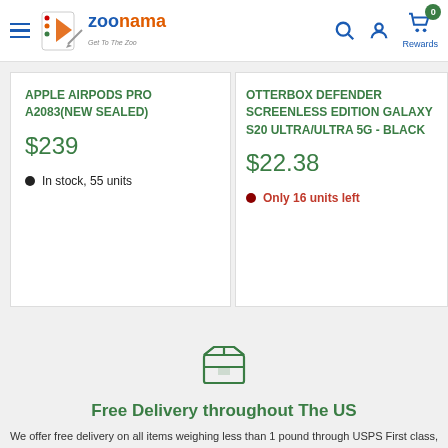Zoonama - Get To The Zoo | Navigation header with search, account, cart, and rewards icons
APPLE AIRPODS PRO A2083(NEW SEALED)
$239
In stock, 55 units
OTTERBOX DEFENDER SCREENLESS EDITION GALAXY S20 ULTRA/ULTRA 5G - BLACK
$22.38
Only 16 units left
[Figure (illustration): Box/package delivery icon outline in dark green]
Free Delivery throughout The US
We offer free delivery on all items weighing less than 1 pound through USPS First class, or any order totaling 25.00 or more.